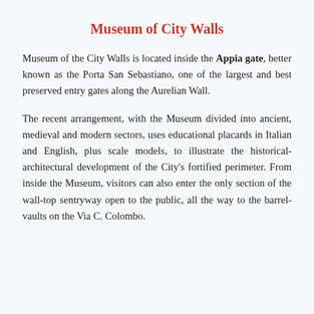Museum of City Walls
Museum of the City Walls is located inside the Appia gate, better known as the Porta San Sebastiano, one of the largest and best preserved entry gates along the Aurelian Wall.
The recent arrangement, with the Museum divided into ancient, medieval and modern sectors, uses educational placards in Italian and English, plus scale models, to illustrate the historical- architectural development of the City's fortified perimeter. From inside the Museum, visitors can also enter the only section of the wall-top sentryway open to the public, all the way to the barrel- vaults on the Via C. Colombo.